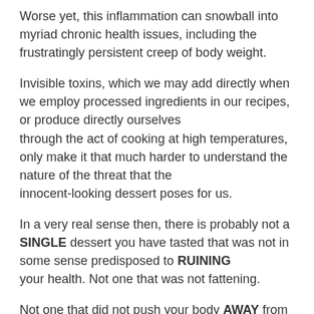Worse yet, this inflammation can snowball into myriad chronic health issues, including the frustratingly persistent creep of body weight.
Invisible toxins, which we may add directly when we employ processed ingredients in our recipes, or produce directly ourselves through the act of cooking at high temperatures, only make it that much harder to understand the nature of the threat that the innocent-looking dessert poses for us.
In a very real sense then, there is probably not a SINGLE dessert you have tasted that was not in some sense predisposed to RUINING your health. Not one that was not fattening.
Not one that did not push your body AWAY from its ideal weight rather than pull it TOWARD that goal.
For someone who loves desserts and who might already be struggling to keep their weight in check this could